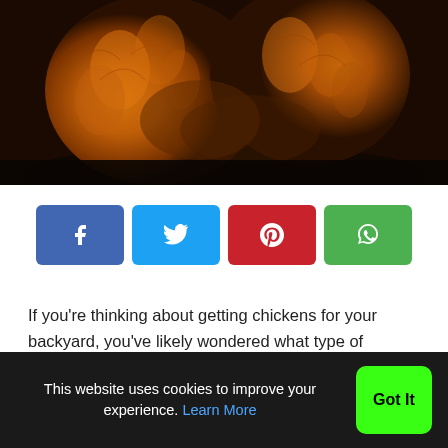[Figure (photo): Close-up photo of a brown/auburn chicken with detailed feather texture visible, photographed from above/behind against a dark background.]
[Figure (infographic): Social sharing buttons: Facebook (blue), Twitter (cyan), Pinterest (red), WhatsApp (green)]
If you're thinking about getting chickens for your backyard, you've likely wondered what type of chicken is best for your backyard. As there are hundreds of breeds of chickens to choose from, it can be a little overwhelming when deciding on a breed.
This website uses cookies to improve your experience. Learn More  Got It